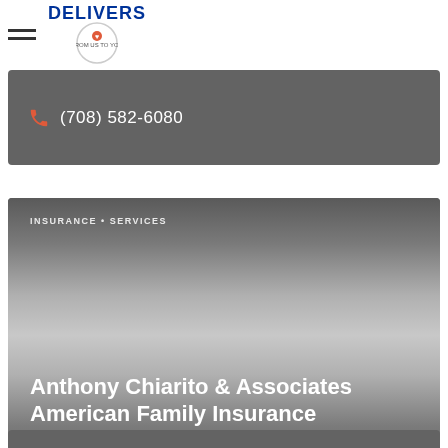DELIVERS
(708) 582-6080
INSURANCE • SERVICES
Anthony Chiarito & Associates American Family Insurance
630-257-9300
FINANCIAL SERVICES • SERVICES